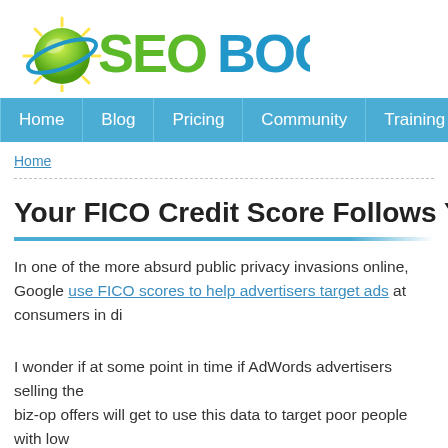[Figure (logo): SEO Book logo with green sun/globe icon and blue BOOK text]
Home | Blog | Pricing | Community | Training | Tools
Home
Your FICO Credit Score Follows You Aro...
In one of the more absurd public privacy invasions online, Google... use FICO scores to help advertisers target ads at consumers in di...
I wonder if at some point in time if AdWords advertisers selling the... biz-op offers will get to use this data to target poor people with low... sense that Google would spin this positively stating that it is good... credit-worthy customers, which is the story that was marketed in t...
Consumers with high FICO scores demonstrate some u...